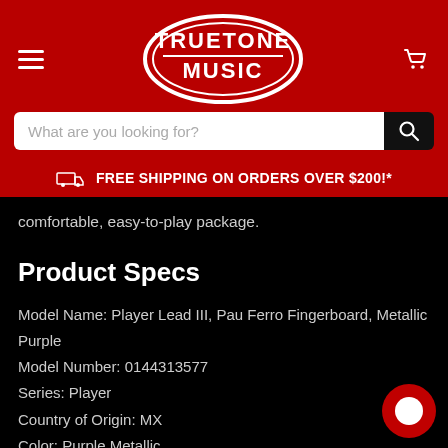[Figure (logo): Truetone Music logo — white oval with TRUETONE MUSIC text on dark red background header]
What are you looking for?
FREE SHIPPING ON ORDERS OVER $200!*
comfortable, easy-to-play package.
Product Specs
Model Name: Player Lead III, Pau Ferro Fingerboard, Metallic Purple
Model Number: 0144313577
Series: Player
Country of Origin: MX
Color: Purple Metallic